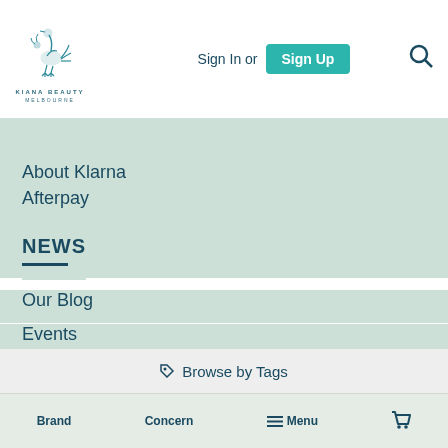[Figure (logo): Kiana Beauty Melbourne logo with teal bird/flower illustration and text KIANA BEAUTY MELBOURNE below]
Sign In or Sign Up
About Klarna
Afterpay
NEWS
Our Blog
Events
COPYRIGHT © 2022 KIANA BEAUTY MELBOURNE THE TRUSTEE FOR KIANA BEAUTY TRUST ABN # 83128742569
Browse by Tags
Brand   Concern   Menu   (cart icon)